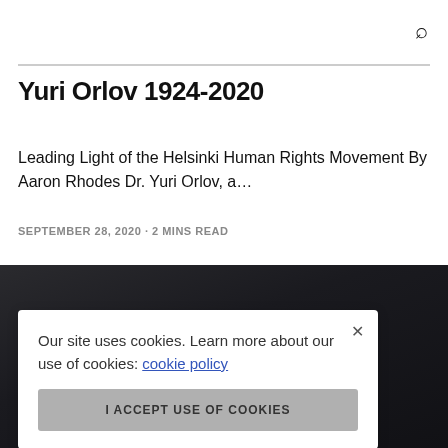🔍
Yuri Orlov 1924-2020
Leading Light of the Helsinki Human Rights Movement By Aaron Rhodes Dr. Yuri Orlov, a…
SEPTEMBER 28, 2020 · 2 MINS READ
[Figure (photo): Dark background image, partially visible beneath a cookie consent banner]
Our site uses cookies. Learn more about our use of cookies: cookie policy
I ACCEPT USE OF COOKIES